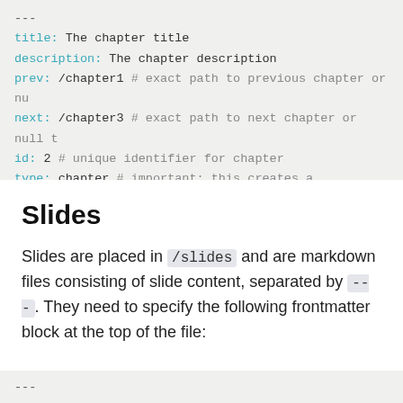---
title: The chapter title
description: The chapter description
prev: /chapter1 # exact path to previous chapter or nu
next: /chapter3 # exact path to next chapter or null t
id: 2 # unique identifier for chapter
type: chapter # important: this creates a standalone p
---
Slides
Slides are placed in /slides and are markdown files consisting of slide content, separated by ---. They need to specify the following frontmatter block at the top of the file:
---